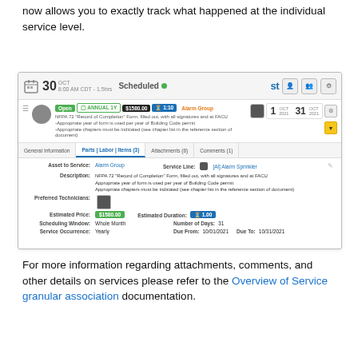now allows you to exactly track what happened at the individual service level.
[Figure (screenshot): Screenshot of a service scheduling interface showing a scheduled work order dated October 30, with tags for Open, Annual, price $1580.00, time 1hr, and user Alarm Group. Details include NFPA 72 record of completion form, parts/labor/items tabs, asset to service, description, preferred technicians, estimated price $1580.00, estimated duration 1.00, scheduling window Whole Month, number of days 31, service occurrence Yearly, due from 10/01/2021, due to 10/31/2021.]
For more information regarding attachments, comments, and other details on services please refer to the Overview of Service granular association documentation.